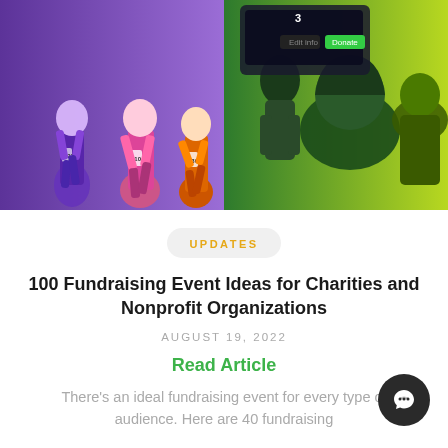[Figure (photo): Banner image showing marathon runners in purple/pink tones on the left side and a green-toned audience/event scene on the right with PAYBEE logo watermark]
UPDATES
100 Fundraising Event Ideas for Charities and Nonprofit Organizations
AUGUST 19, 2022
Read Article
There's an ideal fundraising event for every type of audience. Here are 40 fundraising